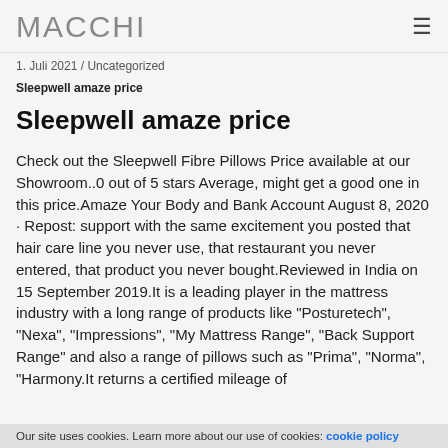MACCHI
1. Juli 2021 / Uncategorized
Sleepwell amaze price
Sleepwell amaze price
Check out the Sleepwell Fibre Pillows Price available at our Showroom..0 out of 5 stars Average, might get a good one in this price.Amaze Your Body and Bank Account August 8, 2020 · Repost: support with the same excitement you posted that hair care line you never use, that restaurant you never entered, that product you never bought.Reviewed in India on 15 September 2019.It is a leading player in the mattress industry with a long range of products like "Posturetech", "Nexa", "Impressions", "My Mattress Range", "Back Support Range" and also a range of pillows such as "Prima", "Norma", "Harmony.It returns a certified mileage of
Our site uses cookies. Learn more about our use of cookies: cookie policy